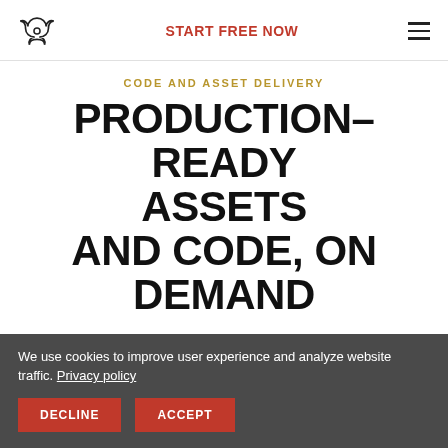START FREE NOW
CODE AND ASSET DELIVERY
PRODUCTION–READY ASSETS AND CODE, ON DEMAND
Forget tedious exporting of icons, figuring out what hex codes to use for a specific color, or how you define a specific text style. Supernova automates the delivery of asset sets, style libraries and design tokens for you, end-to-end.
We use cookies to improve user experience and analyze website traffic. Privacy policy
DECLINE
ACCEPT